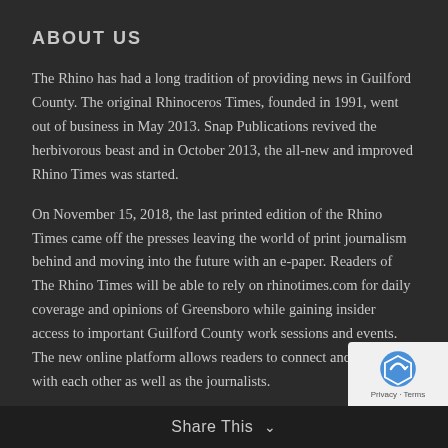ABOUT US
The Rhino has had a long tradition of providing news in Guilford County. The original Rhinoceros Times, founded in 1991, went out of business in May 2013. Snap Publications revived the herbivorous beast and in October 2013, the all-new and improved Rhino Times was started.
On November 15, 2018, the last printed edition of the Rhino Times came off the presses leaving the world of print journalism behind and moving into the future with an e-paper. Readers of The Rhino Times will be able to rely on rhinotimes.com for daily coverage and opinions of Greensboro while gaining insider access to important Guilford County work sessions and events. The new online platform allows readers to connect and interact with each other as well as the journalists.
Share This